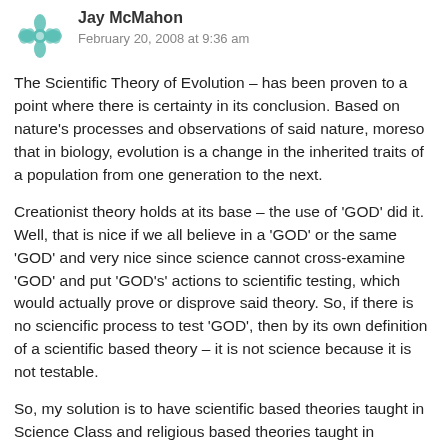Jay McMahon
February 20, 2008 at 9:36 am
The Scientific Theory of Evolution – has been proven to a point where there is certainty in its conclusion. Based on nature's processes and observations of said nature, moreso that in biology, evolution is a change in the inherited traits of a population from one generation to the next.
Creationist theory holds at its base – the use of 'GOD' did it. Well, that is nice if we all believe in a 'GOD' or the same 'GOD' and very nice since science cannot cross-examine 'GOD' and put 'GOD's' actions to scientific testing, which would actually prove or disprove said theory. So, if there is no sciencific process to test 'GOD', then by its own definition of a scientific based theory – it is not science because it is not testable.
So, my solution is to have scientific based theories taught in Science Class and religious based theories taught in